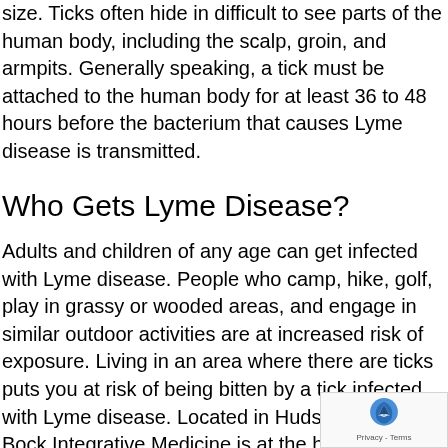size. Ticks often hide in difficult to see parts of the human body, including the scalp, groin, and armpits. Generally speaking, a tick must be attached to the human body for at least 36 to 48 hours before the bacterium that causes Lyme disease is transmitted.
Who Gets Lyme Disease?
Adults and children of any age can get infected with Lyme disease. People who camp, hike, golf, play in grassy or wooded areas, and engage in similar outdoor activities are at increased risk of exposure. Living in an area where there are ticks puts you at risk of being bitten by a tick infected with Lyme disease. Located in Hudson Valley, NY, Bock Integrative Medicine is at the heart of tick-borne illness epidemic. As such, the Lyme disease doctors at Bock Integrative has accrued